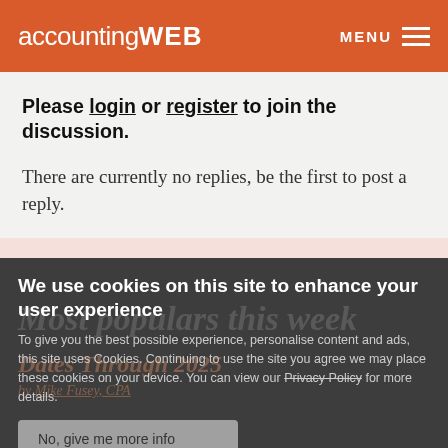accountingWEB | MENU
Please login or register to join the discussion.
There are currently no replies, be the first to post a reply.
We use cookies on this site to enhance your user experience
To give you the best possible experience, personalise content and ads, this site uses Cookies. Continuing to use the site you agree we may place these cookies on your device. You can view our Privacy Policy for more details.
No, give me more info
OK, I agree